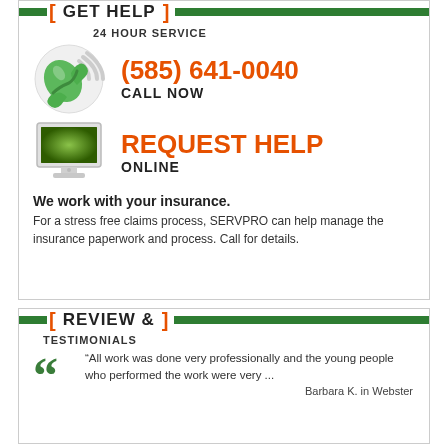[ GET HELP ]
24 HOUR SERVICE
[Figure (illustration): Green phone handset with wireless signal icon]
(585) 641-0040
CALL NOW
[Figure (illustration): Computer monitor with green screen on white stand]
REQUEST HELP
ONLINE
We work with your insurance.
For a stress free claims process, SERVPRO can help manage the insurance paperwork and process. Call for details.
[ REVIEW & ]
TESTIMONIALS
“All work was done very professionally and the young people who performed the work were very ...

Barbara K. in Webster